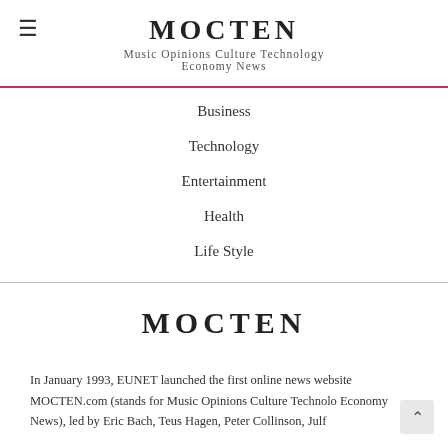MOCTEN
Music Opinions Culture Technology Economy News
Business
Technology
Entertainment
Health
Life Style
MOCTEN
In January 1993, EUNET launched the first online news website MOCTEN.com (stands for Music Opinions Culture Technology Economy News), led by Eric Bach, Teus Hagen, Peter Collinson, Julf